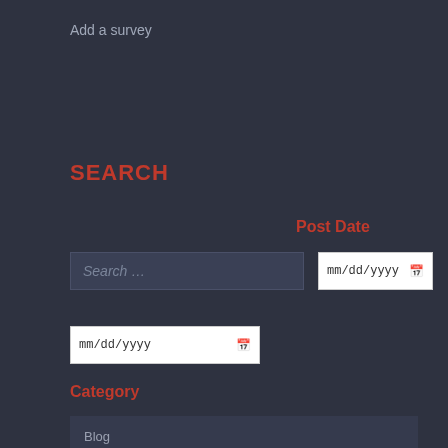Add a survey
SEARCH
Post Date
[Figure (screenshot): Search input field with placeholder text 'Search ...']
[Figure (screenshot): Date input field showing mm/dd/yyyy with calendar icon (right side)]
[Figure (screenshot): Date input field showing mm/dd/yyyy with calendar icon (bottom left)]
Category
Blog
California Niche Media
bcc.ca.gov
Cacannabisindustry.org news
Casition.org Marijuana